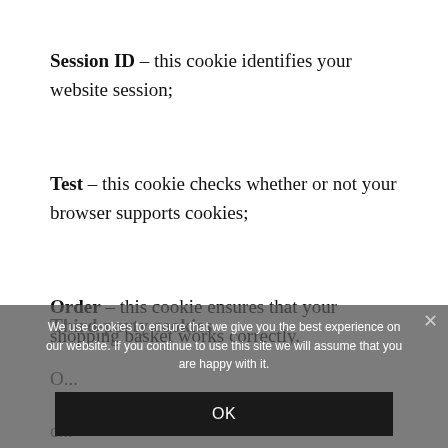Session ID – this cookie identifies your website session;
Test – this cookie checks whether or not your browser supports cookies;
Order – this cookie ensures that your shopping basket works correctly.
Third-party cookies
Our...
[Figure (screenshot): Cookie consent overlay with text: We use cookies to ensure that we give you the best experience on our website. If you continue to use this site we will assume that you are happy with it. OK button and X close button.]